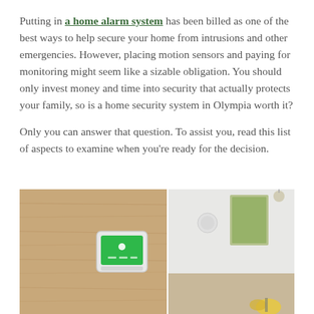Putting in a home alarm system has been billed as one of the best ways to help secure your home from intrusions and other emergencies. However, placing motion sensors and paying for monitoring might seem like a sizable obligation. You should only invest money and time into security that actually protects your family, so is a home security system in Olympia worth it?
Only you can answer that question. To assist you, read this list of aspects to examine when you’re ready for the decision.
[Figure (photo): Split image showing a home security control panel mounted on a wooden wall on the left, and a bright interior room with a round sensor on the wall on the right.]